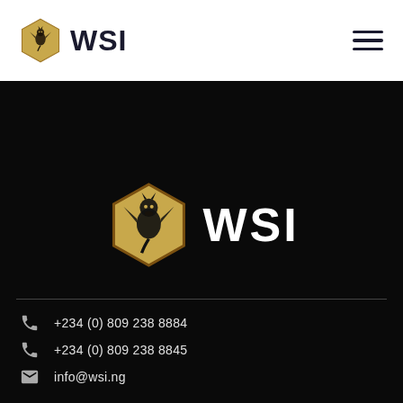[Figure (logo): WSI logo with golden hexagon dragon emblem and bold WSI text in dark color, on white navbar]
[Figure (logo): WSI logo large version with golden hexagon dragon emblem and white WSI text on dark/black background]
+234 (0) 809 238 8884
+234 (0) 809 238 8845
info@wsi.ng
ENQUIRES